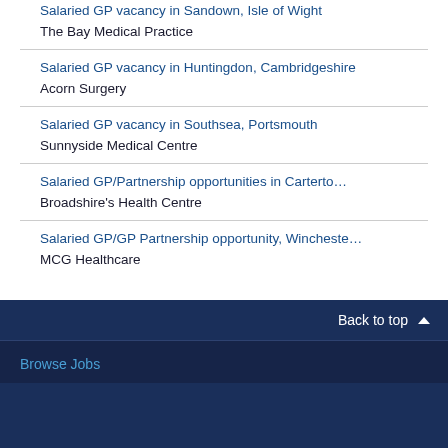Salaried GP vacancy in Sandown, Isle of Wight
The Bay Medical Practice
Salaried GP vacancy in Huntingdon, Cambridgeshire
Acorn Surgery
Salaried GP vacancy in Southsea, Portsmouth
Sunnyside Medical Centre
Salaried GP/Partnership opportunities in Carterto…
Broadshire's Health Centre
Salaried GP/GP Partnership opportunity, Wincheste…
MCG Healthcare
Back to top
Browse Jobs